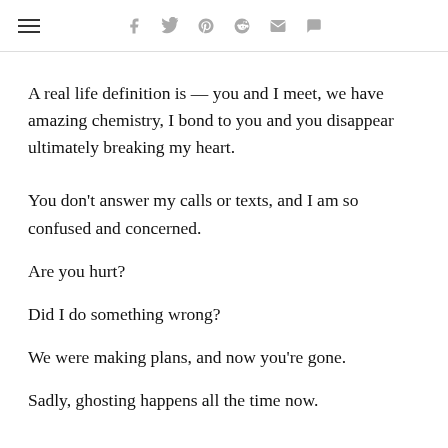navigation bar with hamburger menu and social icons: facebook, twitter, pinterest, reddit, email, comment
A real life definition is — you and I meet, we have amazing chemistry, I bond to you and you disappear ultimately breaking my heart.
You don't answer my calls or texts, and I am so confused and concerned.
Are you hurt?
Did I do something wrong?
We were making plans, and now you're gone.
Sadly, ghosting happens all the time now.